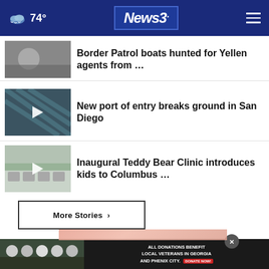74° News3
Border Patrol boats hunted for Yellen agents from …
New port of entry breaks ground in San Diego
Inaugural Teddy Bear Clinic introduces kids to Columbus …
More Stories ›
[Figure (advertisement): ALL DONATIONS BENEFIT LOCAL VETERANS IN GEORGIA AND PHENIX CITY. DONATE NOW!]